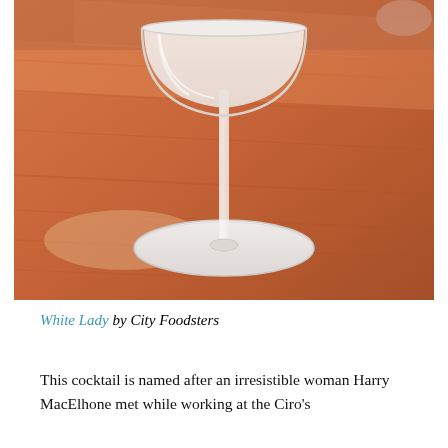[Figure (photo): A white cocktail glass (coupe/martini style) with a creamy white drink, sitting on a white coaster on a warm orange-toned wooden bar counter. Background is blurred with orange wood tones and a partial hand visible in the upper right.]
White Lady by City Foodsters
This cocktail is named after an irresistible woman Harry MacElhone met while working at the Ciro's Club in 1919. This classic cocktail has an...